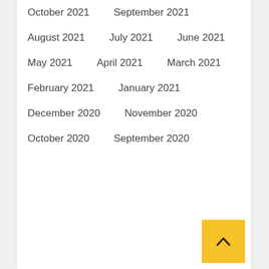October 2021
September 2021
August 2021
July 2021
June 2021
May 2021
April 2021
March 2021
February 2021
January 2021
December 2020
November 2020
October 2020
September 2020